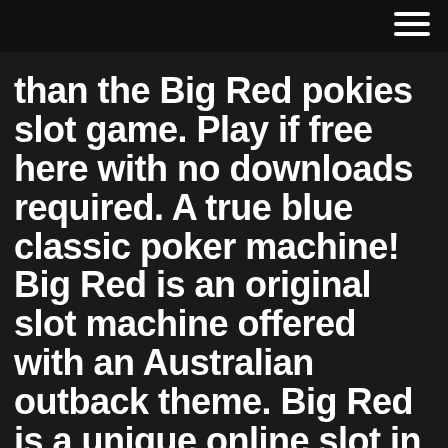than the Big Red pokies slot game. Play if free here with no downloads required. A true blue classic poker machine! Big Red is an original slot machine offered with an Australian outback theme. Big Red is a unique online slot in that unlike other games it only features only 5 paylines.
Modern computer technology has resulted in variations on the slot machine concept. Slot machines are the most popular gambling method in casinos and constitute about 70 percent of the average US casino's income. [3]